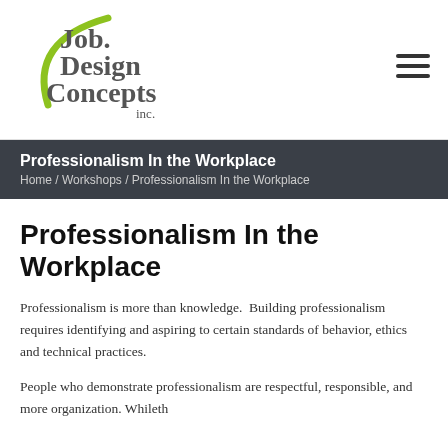[Figure (logo): Job Design Concepts inc. logo with green arc and gray text]
Professionalism In the Workplace
Home / Workshops / Professionalism In the Workplace
Professionalism In the Workplace
Professionalism is more than knowledge.  Building professionalism requires identifying and aspiring to certain standards of behavior, ethics and technical practices.
People who demonstrate professionalism are respectful, responsible, and more organization. Whileth